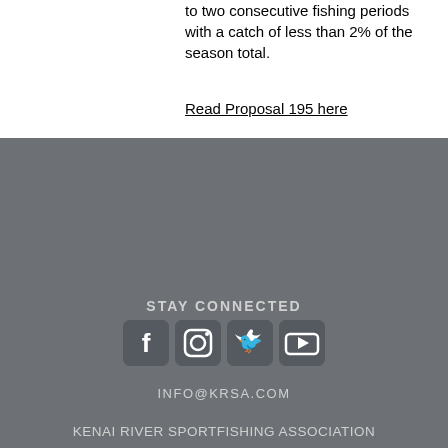to two consecutive fishing periods with a catch of less than 2% of the season total.
Read Proposal 195 here
STAY CONNECTED
[Figure (infographic): Four social media icons: Facebook, Instagram, Twitter, YouTube]
INFO@KRSA.COM
KENAI RIVER SPORTFISHING ASSOCIATION
35093 KENAI SPUR HIGHWAY
SOLDOTNA, AK 99669
907.262.8588
© KRSA 2022